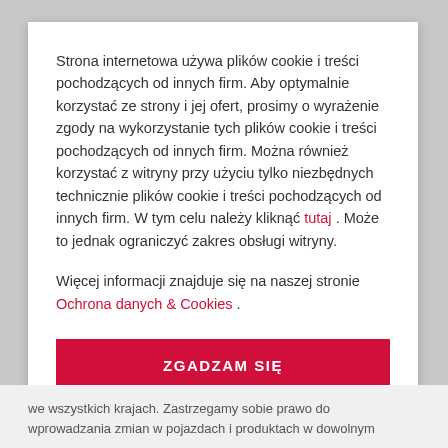Strona internetowa używa plików cookie i treści pochodzących od innych firm. Aby optymalnie korzystać ze strony i jej ofert, prosimy o wyrażenie zgody na wykorzystanie tych plików cookie i treści pochodzących od innych firm. Można również korzystać z witryny przy użyciu tylko niezbędnych technicznie plików cookie i treści pochodzących od innych firm. W tym celu należy kliknąć tutaj . Może to jednak ograniczyć zakres obsługi witryny.
Więcej informacji znajduje się na naszej stronie Ochrona danych & Cookies .
ZGADZAM SIĘ
we wszystkich krajach. Zastrzegamy sobie prawo do wprowadzania zmian w pojazdach i produktach w dowolnym